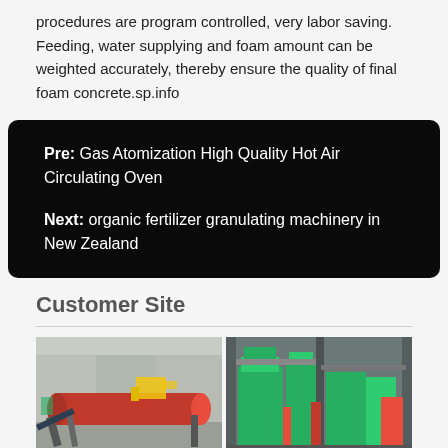procedures are program controlled, very labor saving. Feeding, water supplying and foam amount can be weighted accurately, thereby ensure the quality of final foam concrete.sp.info
Pre: Gas Atomization High Quality Hot Air Circulating Oven
Next: organic fertilizer granulating machinery in New Zealand
Customer Site
[Figure (photo): Industrial facility with a large red cylindrical drum/rotary machine on a conveyor system inside a warehouse, with yellow excavator visible in background.]
[Figure (photo): Industrial granulating machinery with green and red equipment components inside a factory setting.]